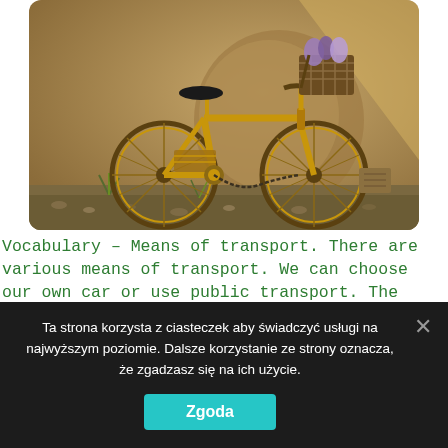[Figure (photo): A golden/yellow vintage bicycle with a flower basket parked against a stone wall with gravel ground and small plants]
Vocabulary – Means of transport. There are various means of transport. We can choose our own car or use public transport. The general word for all types of road transport is vehicle. First, let's look at different means of transport.
Ta strona korzysta z ciasteczek aby świadczyć usługi na najwyższym poziomie. Dalsze korzystanie ze strony oznacza, że zgadzasz się na ich użycie. Zgoda